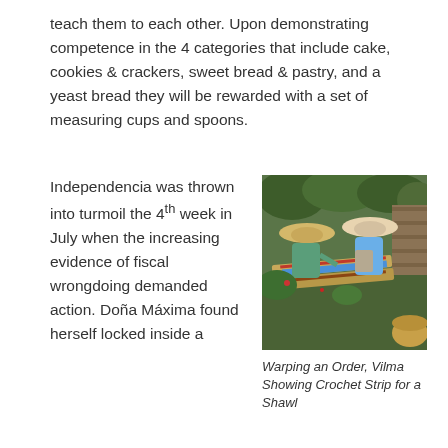teach them to each other. Upon demonstrating competence in the 4 categories that include cake, cookies & crackers, sweet bread & pastry, and a yeast bread they will be rewarded with a set of measuring cups and spoons.
Independencia was thrown into turmoil the 4th week in July when the increasing evidence of fiscal wrongdoing demanded action. Doña Máxima found herself locked inside a
[Figure (photo): Outdoor photo of two women wearing wide-brimmed hats working on a loom/weaving setup on the ground. A long wooden loom with a blue strip is visible between them. Green plants and a wooden fence are in the background. A basket is visible in the lower right.]
Warping an Order, Vilma Showing Crochet Strip for a Shawl